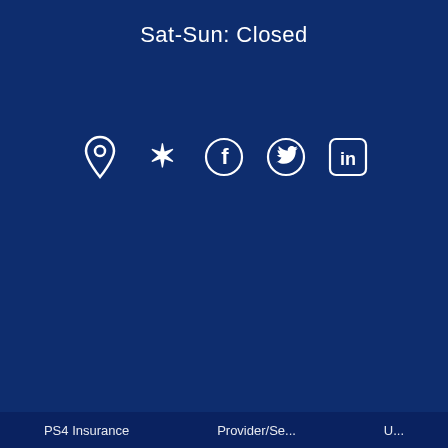Sat-Sun: Closed
[Figure (infographic): Row of five social media / location icons in white: map pin (Google Maps), Yelp, Facebook, Twitter, LinkedIn]
PS4 Insurance    Provider/Se...    U...